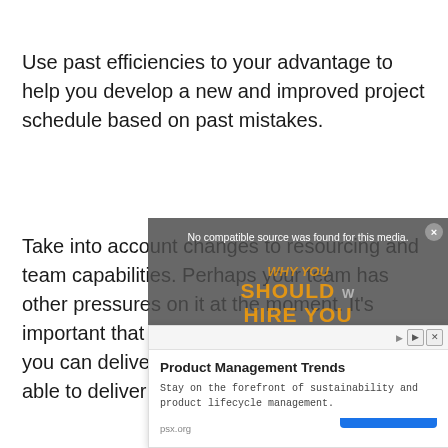Use past efficiencies to your advantage to help you develop a new and improved project schedule based on past mistakes.
Take into account changes to resourcing and team capabilities. Perhaps your team has other pressures on it at the moment. It's important that you recognize exactly what you can deliver now against what you were able to deliver last time.
[Figure (other): Video overlay with message 'No compatible source was found for this media.' and decorative text 'SHOULD YOU HIRE YOU' with an X close button and number 5]
[Figure (infographic): Advertisement panel for Product Management Trends from psx.org with title 'Product Management Trends', description 'Stay on the forefront of sustainability and product lifecycle management.' and a 'Learn More' button]